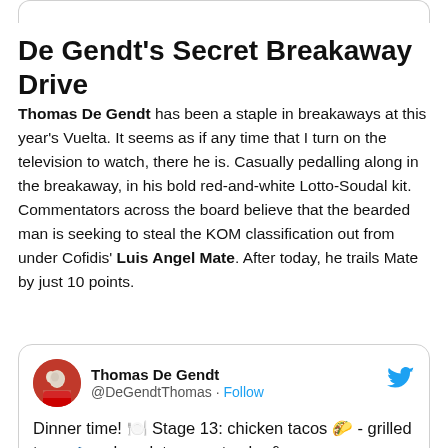De Gendt's Secret Breakaway Drive
Thomas De Gendt has been a staple in breakaways at this year's Vuelta. It seems as if any time that I turn on the television to watch, there he is. Casually pedalling along in the breakaway, in his bold red-and-white Lotto-Soudal kit. Commentators across the board believe that the bearded man is seeking to steal the KOM classification out from under Cofidis' Luis Angel Mate. After today, he trails Mate by just 10 points.
[Figure (screenshot): Tweet card from Thomas De Gendt (@DeGendtThomas) with Follow button and Twitter bird icon. Tweet text: Dinner time! 🍽️ Stage 13: chicken tacos 🌮 - grilled tuna 🐟 - chocolate yogurt cake &]